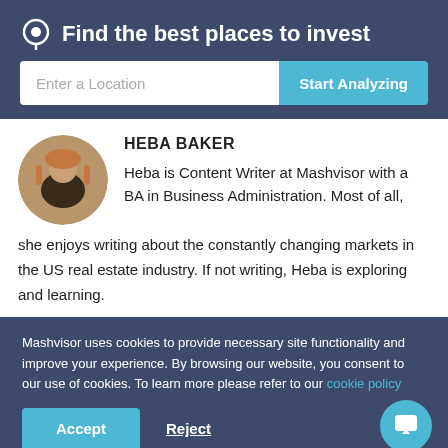Find the best places to invest
Enter a Location
Start Analyzing
HEBA BAKER
Heba is Content Writer at Mashvisor with a BA in Business Administration. Most of all, she enjoys writing about the constantly changing markets in the US real estate industry. If not writing, Heba is exploring and learning.
Mashvisor uses cookies to provide necessary site functionality and improve your experience. By browsing our website, you consent to our use of cookies. To learn more please refer to our cookie policy
Accept
Reject